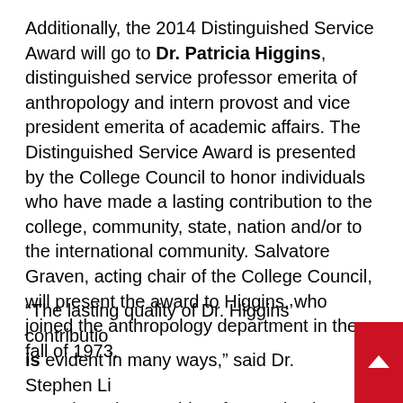Additionally, the 2014 Distinguished Service Award will go to Dr. Patricia Higgins, distinguished service professor emerita of anthropology and intern provost and vice president emerita of academic affairs. The Distinguished Service Award is presented by the College Council to honor individuals who have made a lasting contribution to the college, community, state, nation and/or to the international community. Salvatore Graven, acting chair of the College Council, will present the award to Higgins, who joined the anthropology department in the fall of 1973.
“The lasting quality of Dr. Higgins’ contribution is evident in many ways,” said Dr. Stephen Li… associate vice president for academic affairs. First and foremost, the thousands of students in